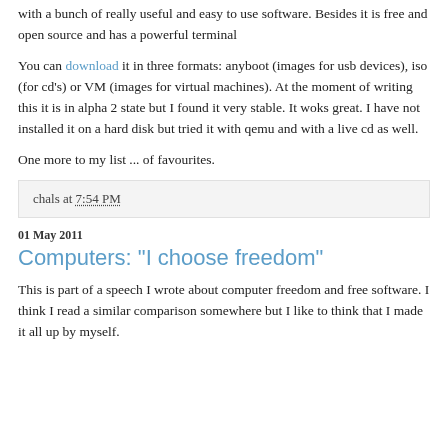with a bunch of really useful and easy to use software. Besides it is free and open source and has a powerful terminal
You can download it in three formats: anyboot (images for usb devices), iso (for cd's) or VM (images for virtual machines). At the moment of writing this it is in alpha 2 state but I found it very stable. It woks great. I have not installed it on a hard disk but tried it with qemu and with a live cd as well.
One more to my list ... of favourites.
chals at 7:54 PM
01 May 2011
Computers: "I choose freedom"
This is part of a speech I wrote about computer freedom and free software. I think I read a similar comparison somewhere but I like to think that I made it all up by myself.